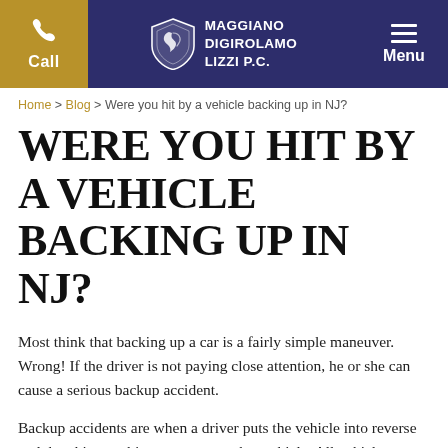Call | MAGGIANO DIGIROLAMO LIZZI P.C. | Menu
Home > Blog > Were you hit by a vehicle backing up in NJ?
WERE YOU HIT BY A VEHICLE BACKING UP IN NJ?
Most think that backing up a car is a fairly simple maneuver. Wrong! If the driver is not paying close attention, he or she can cause a serious backup accident.
Backup accidents are when a driver puts the vehicle into reverse and then hits an object, person or other vehicle. All vehicles are equipped with rear-view mirrors, which are